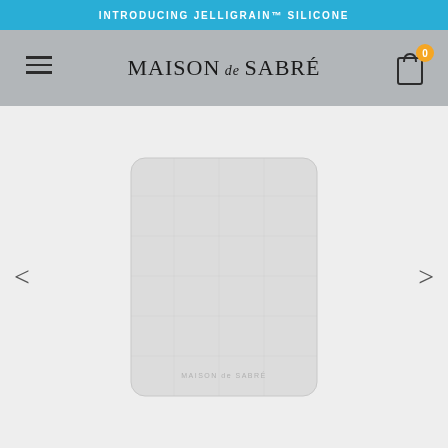INTRODUCING JELLIGRAIN™ SILICONE
MAISON de SABRÉ
[Figure (screenshot): White/light grey passport holder product with rounded corners, subtle texture, and 'MAISON de SABRÉ' branding embossed at the bottom center, shown on a light grey background with left and right navigation arrows.]